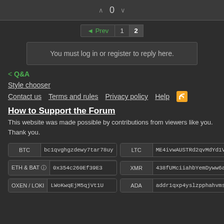0
◄ Prev  1  2
You must log in or register to reply here.
< Q&A
Style chooser
Contact us   Terms and rules   Privacy policy   Help
How to Support the Forum
This website was made possible by contributions from viewers like you. Thank you.
| Currency | Address |
| --- | --- |
| BTC | bc1qvghgzdewy7tar78uy |
| LTC | ME4ivwAUSTRd2qvMdYd1V |
| ETH & BAT (?) | 0x354c260Ef39E3 |
| XMR | 438fUMciiahbYemDyww6a |
| OXEN / LOKI | LWoKwqEjM5qjVt1U |
| ADA | addr1qxp4yslzpphahvms |